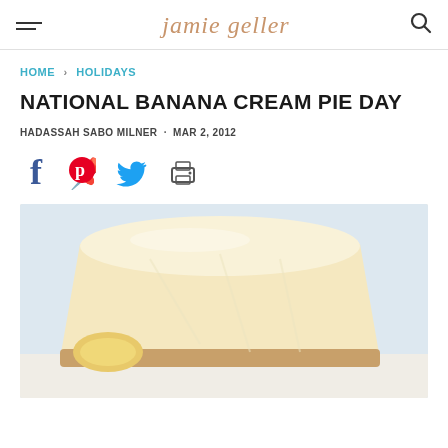jamie geller
HOME > HOLIDAYS
NATIONAL BANANA CREAM PIE DAY
HADASSAH SABO MILNER · MAR 2, 2012
[Figure (other): Social share icons: Facebook, Pinterest, Twitter, Print]
[Figure (photo): A slice of banana cream pie with banana slices visible on top, light cream topping, on a white background]